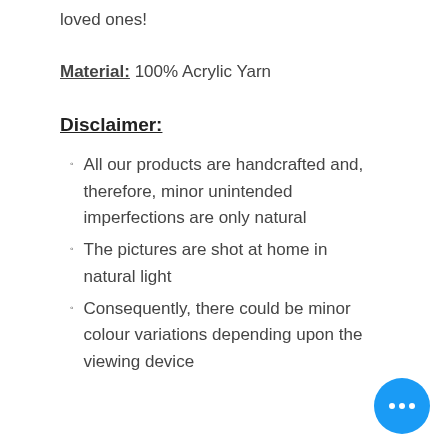loved ones!
Material: 100% Acrylic Yarn
Disclaimer:
All our products are handcrafted and, therefore, minor unintended imperfections are only natural
The pictures are shot at home in natural light
Consequently, there could be minor colour variations depending upon the viewing device